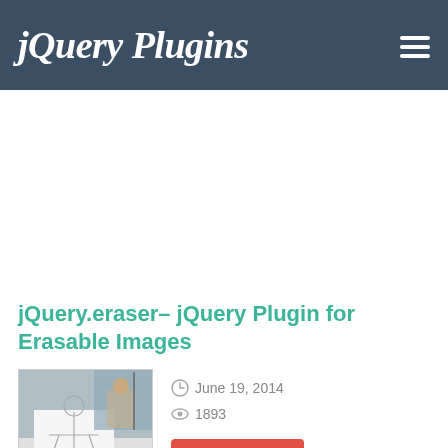jQuery Plugins
jQuery.eraser– jQuery Plugin for Erasable Images
[Figure (photo): Thumbnail showing a half-erased photo of a person in a snowy landscape with a drawn sketch overlay]
June 19, 2014
1893
Read More »